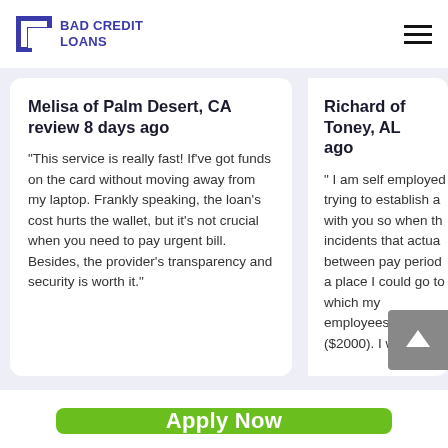BAD CREDIT LOANS
Melisa of Palm Desert, CA review 8 days ago
"This service is really fast! If've got funds on the card without moving away from my laptop. Frankly speaking, the loan's cost hurts the wallet, but it's not crucial when you need to pay urgent bill. Besides, the provider's transparency and security is worth it."
Richard of Toney, AL ago
" I am self employed trying to establish a with you so when th incidents that actua between pay period a place I could go to which my employees week ($2000). I went
Apply Now
Applying does NOT affect your credit score!
No credit check to apply.